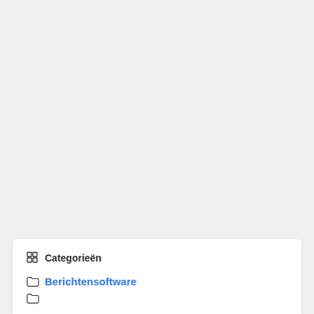Categorieën
Berichtensoftware
(partially visible)